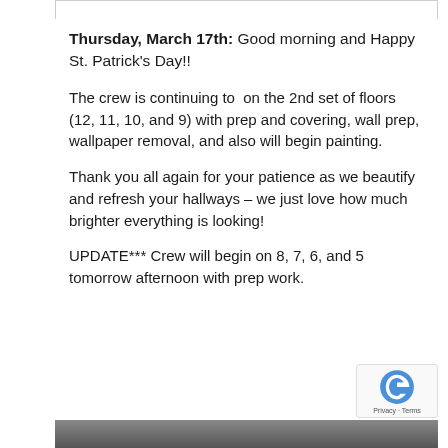Thursday, March 17th: Good morning and Happy St. Patrick's Day!!
The crew is continuing to  on the 2nd set of floors (12, 11, 10, and 9) with prep and covering, wall prep, wallpaper removal, and also will begin painting.
Thank you all again for your patience as we beautify and refresh your hallways – we just love how much brighter everything is looking!
UPDATE*** Crew will begin on 8, 7, 6, and 5 tomorrow afternoon with prep work.
[Figure (photo): Bottom strip showing the top of a photograph, partially visible.]